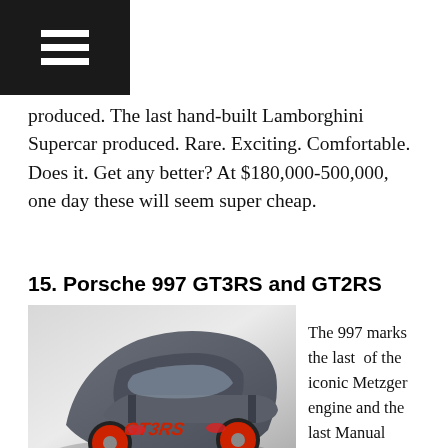☰
produced. The last hand-built Lamborghini Supercar produced. Rare. Exciting. Comfortable. Does it. Get any better? At $180,000-500,000, one day these will seem super cheap.
15. Porsche 997 GT3RS and GT2RS
[Figure (photo): Aerial/top-down rear view of a grey Porsche 997 GT3RS with red wheels and red GT3RS decals on a grey studio background.]
The 997 marks the last  of the iconic Metzger engine and the last Manual transmission versions of the GT3RS and GT2RS editions. Arguably, the 997 is the last “real” 911. Lets